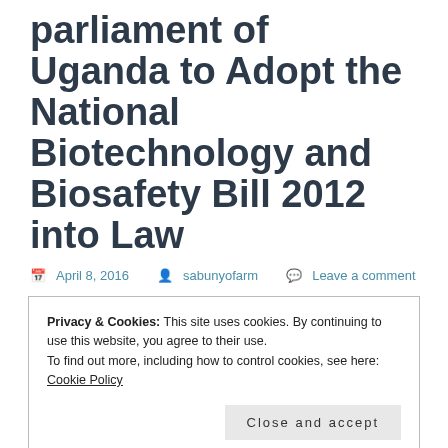Petition to the 9th parliament of Uganda to Adopt the National Biotechnology and Biosafety Bill 2012 into Law
April 8, 2016  sabunyofarm  Leave a comment
Privacy & Cookies: This site uses cookies. By continuing to use this website, you agree to their use.
To find out more, including how to control cookies, see here: Cookie Policy
Close and accept